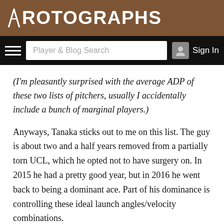ROTOGRAPHS
Player & Blog Search  Sign In
(I'm pleasantly surprised with the average ADP of these two lists of pitchers, usually I accidentally include a bunch of marginal players.)
Anyways, Tanaka sticks out to me on this list. The guy is about two and a half years removed from a partially torn UCL, which he opted not to have surgery on. In 2015 he had a pretty good year, but in 2016 he went back to being a dominant ace. Part of his dominance is controlling these ideal launch angles/velocity combinations.
He gives up a fair number of balls between 25 and 36 degrees,